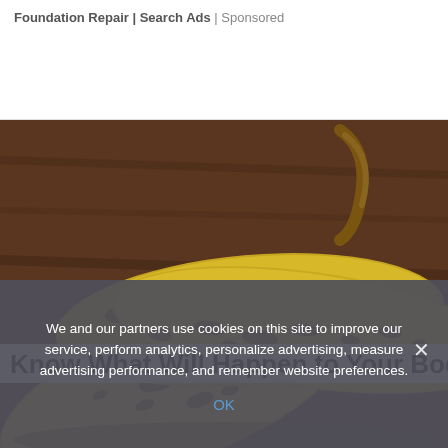Foundation Repair | Search Ads | Sponsored
[Figure (photo): Three overripe bananas with heavy brown spots lying on a dark wooden surface]
Know What Will Happen to Your Body if You
We and our partners use cookies on this site to improve our service, perform analytics, personalize advertising, measure advertising performance, and remember website preferences.
OK